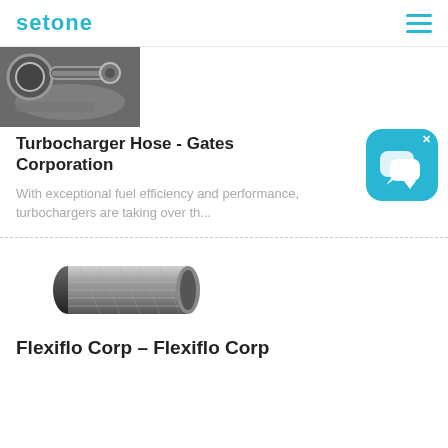setone
[Figure (photo): Turbocharger hose hardware components, metallic fittings and hoses]
Turbocharger Hose - Gates Corporation
With exceptional fuel efficiency and performance, turbochargers are taking over th...
[Figure (illustration): Chat bubble / messenger app icon, blue rounded square with speech bubbles]
[Figure (photo): Flexiflo industrial hose, black and silver braided hose]
Flexiflo Corp – Flexiflo Corp